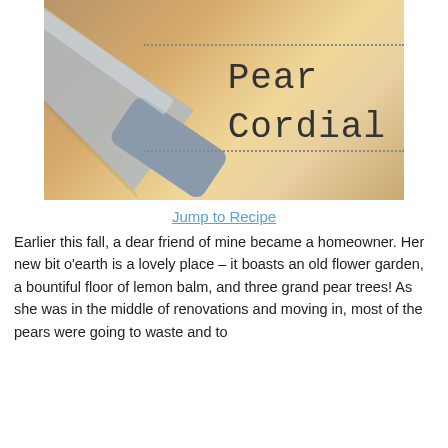[Figure (photo): A silver kitchen knife resting on a wooden cutting board, with dotted border lines and the text 'Pear Cordial' overlaid in a handwritten style font]
Jump to Recipe
Earlier this fall, a dear friend of mine became a homeowner. Her new bit o'earth is a lovely place – it boasts an old flower garden, a bountiful floor of lemon balm, and three grand pear trees! As she was in the middle of renovations and moving in, most of the pears were going to waste and to